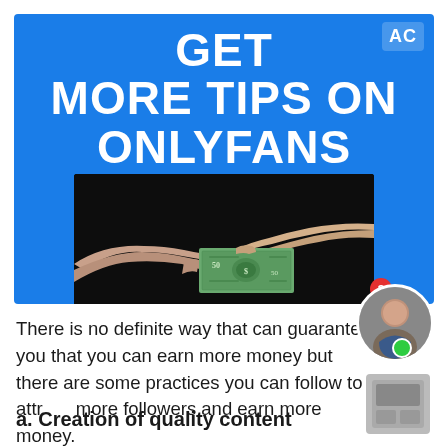[Figure (illustration): Blue banner with bold white text 'GET MORE TIPS ON ONLYFANS' and an 'AC' logo in the top right corner, with a photo of two hands exchanging a US dollar bill against a dark background.]
There is no definite way that can guarantee you that you can earn more money but there are some practices you can follow to attract more followers and earn more money.
a. Creation of quality content